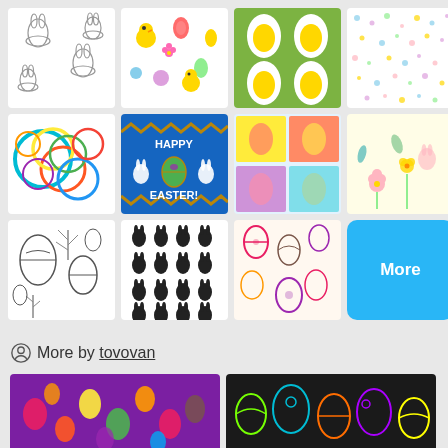[Figure (illustration): Grid of 11 Easter-themed pattern thumbnails plus a More button, arranged in 3 rows of 4]
More by tovovan
[Figure (illustration): Purple background with colorful Easter eggs pattern]
[Figure (illustration): Black background with neon-colored decorated Easter eggs pattern]